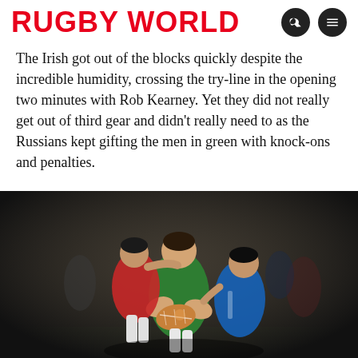RUGBY WORLD
The Irish got out of the blocks quickly despite the incredible humidity, crossing the try-line in the opening two minutes with Rob Kearney. Yet they did not really get out of third gear and didn't really need to as the Russians kept gifting the men in green with knock-ons and penalties.
[Figure (photo): Rugby match action photo showing an Ireland player in green jersey carrying the ball being tackled by Russian players in red and blue jerseys, at night under floodlights.]